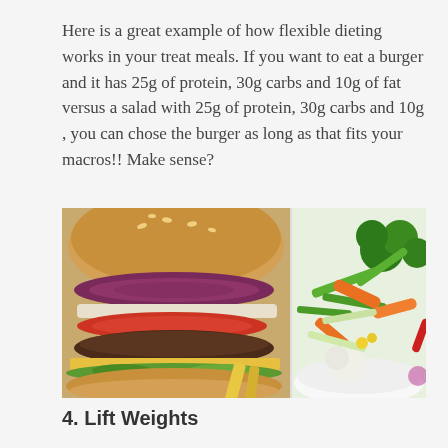Here is a great example of how flexible dieting works in your treat meals. If you want to eat a burger and it has 25g of protein, 30g carbs and 10g of fat versus a salad with 25g of protein, 30g carbs and 10g , you can chose the burger as long as that fits your macros!! Make sense?
[Figure (photo): Side-by-side photos: a large cheeseburger with red onion, tomato, lettuce, and cheese on a sesame bun on the left; a bowl of colorful vegetable salad with broccoli, carrots, green beans, and other vegetables on the right.]
4. Lift Weights